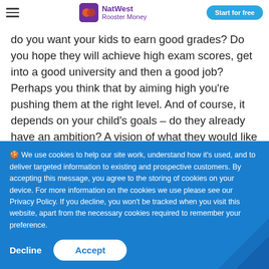NatWest Rooster Money — Start for free
do you want your kids to earn good grades? Do you hope they will achieve high exam scores, get into a good university and then a good job? Perhaps you think that by aiming high you're pushing them at the right level. And of course, it depends on your child's goals – do they already have an ambition? A vision of what they would like to do in the future? Do they see good grades as a route towards this goal? We don't believe that one size fits all, but it's
🍪 We use cookies to help our site work, understand how it's used, and to deliver targeted information to existing and prospective customers. By accepting this message, you agree to the storing of cookies on your device. For more information on the cookies we use please see our Privacy Policy. If you decline, you won't be tracked when you visit this website, apart from the necessary cookies required to remember your preference.
Decline
Accept